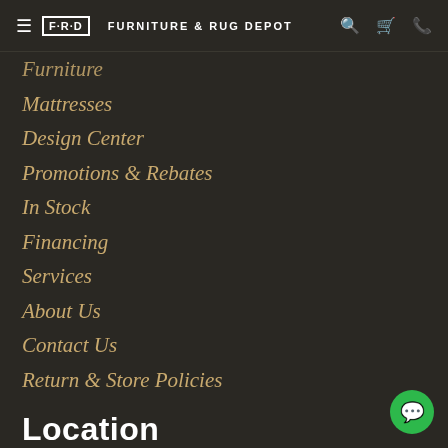FRD FURNITURE & RUG DEPOT
Furniture
Mattresses
Design Center
Promotions & Rebates
In Stock
Financing
Services
About Us
Contact Us
Return & Store Policies
Location
5230 Randolph Rd.
Rockville, MD 20852